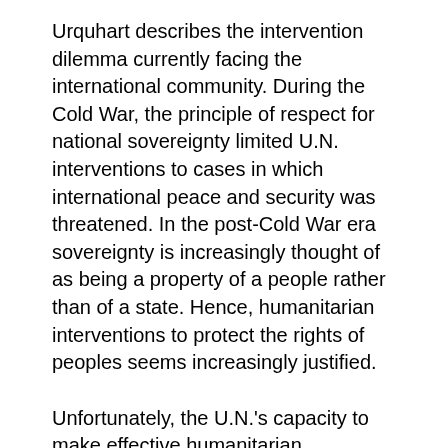Urquhart describes the intervention dilemma currently facing the international community. During the Cold War, the principle of respect for national sovereignty limited U.N. interventions to cases in which international peace and security was threatened. In the post-Cold War era sovereignty is increasingly thought of as being a property of a people rather than of a state. Hence, humanitarian interventions to protect the rights of peoples seems increasingly justified.
Unfortunately, the U.N.'s capacity to make effective humanitarian interventions has not been developed in pace with these conceptual changes. Recent intervention failures have undermined confidence in the U.N.. While member nations are reconsidering their participation in humanitarian interventions, public opinion seems likely to continue to favor humanitarian action.